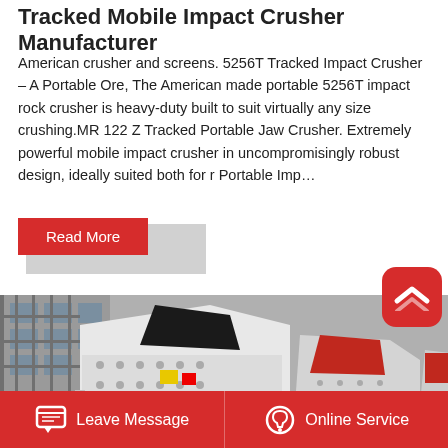Tracked Mobile Impact Crusher Manufacturer
American crusher and screens. 5256T Tracked Impact Crusher – A Portable Ore, The American made portable 5256T impact rock crusher is heavy-duty built to suit virtually any size crushing.MR 122 Z Tracked Portable Jaw Crusher. Extremely powerful mobile impact crusher in uncompromisingly robust design, ideally suited both for r Portable Imp…
[Figure (other): Red 'Read More' button with drop shadow]
[Figure (photo): Photograph of multiple white and red tracked mobile impact crusher machines lined up in an industrial yard]
[Figure (other): Red scroll-to-top button with upward chevron icon]
Leave Message | Online Service